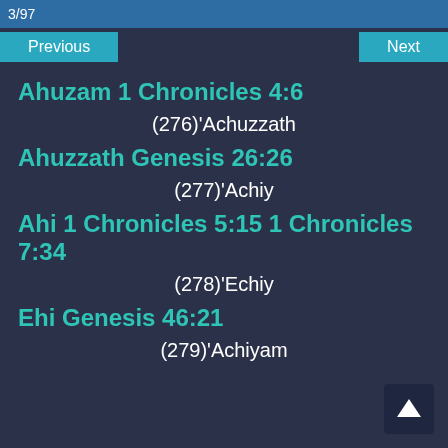3/97
Previous
Next
Ahuzam 1 Chronicles 4:6
(276)'Achuzzath
Ahuzzath Genesis 26:26
(277)'Achiy
Ahi 1 Chronicles 5:15 1 Chronicles 7:34
(278)'Echiy
Ehi Genesis 46:21
(279)'Achiyam